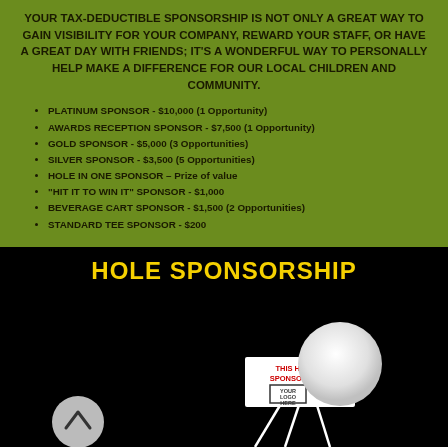YOUR TAX-DEDUCTIBLE SPONSORSHIP IS NOT ONLY A GREAT WAY TO GAIN VISIBILITY FOR YOUR COMPANY, REWARD YOUR STAFF, OR HAVE A GREAT DAY WITH FRIENDS; IT'S A WONDERFUL WAY TO PERSONALLY HELP MAKE A DIFFERENCE FOR OUR LOCAL CHILDREN AND COMMUNITY.
PLATINUM SPONSOR - $10,000 (1 Opportunity)
AWARDS RECEPTION SPONSOR - $7,500 (1 Opportunity)
GOLD SPONSOR - $5,000 (3 Opportunities)
SILVER SPONSOR - $3,500 (5 Opportunities)
HOLE IN ONE SPONSOR – Prize of value
"HIT IT TO WIN IT" SPONSOR - $1,000
BEVERAGE CART SPONSOR - $1,500 (2 Opportunities)
STANDARD TEE SPONSOR - $200
HOLE SPONSORSHIP
[Figure (illustration): Golf ball on a tee sign stand with text 'THIS HOLE IS SPONSORED BY' and a box labeled 'YOUR LOGO HERE', plus a navigation circle with an up chevron arrow on the left.]